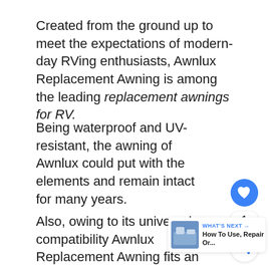Created from the ground up to meet the expectations of modern-day RVing enthusiasts, Awnlux Replacement Awning is among the leading replacement awnings for RV.
Being waterproof and UV-resistant, the awning of Awnlux could put with the elements and remain intact for many years.
Also, owing to its universal compatibility Awnlux Replacement Awning fits an assortment of awning rails made Carefree and Dometic.